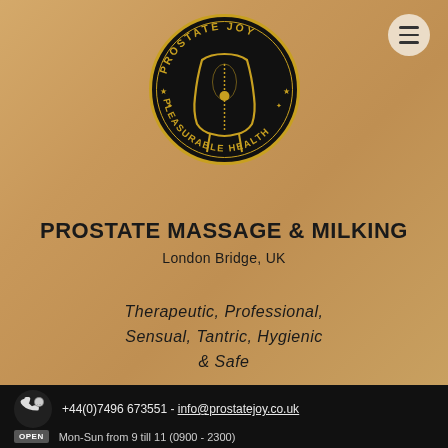[Figure (logo): Circular black logo with gold text reading 'PROSTATE JOY' at top and 'PLEASURABLE HEALTH' at bottom, with a stylized human torso silhouette in gold lines on black background]
PROSTATE MASSAGE & MILKING
London Bridge, UK
Therapeutic, Professional, Sensual, Tantric, Hygienic & Safe
+44(0)7496 673551 - info@prostatejoy.co.uk
Mon-Sun from 9 till 11 (0900 - 2300)